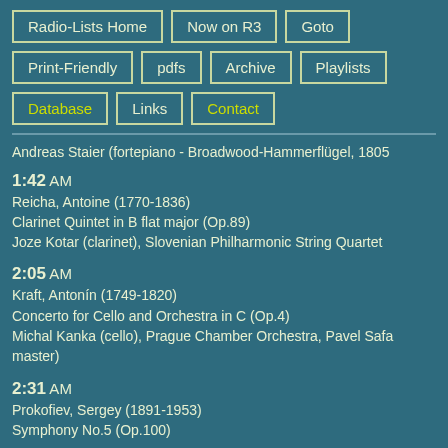Radio-Lists Home
Now on R3
Goto
Print-Friendly
pdfs
Archive
Playlists
Database
Links
Contact
Andreas Staier (fortepiano - Broadwood-Hammerflügel, 1805
1:42 AM
Reicha, Antoine (1770-1836)
Clarinet Quintet in B flat major (Op.89)
Joze Kotar (clarinet), Slovenian Philharmonic String Quartet
2:05 AM
Kraft, Antonín (1749-1820)
Concerto for Cello and Orchestra in C (Op.4)
Michal Kanka (cello), Prague Chamber Orchestra, Pavel Safa master)
2:31 AM
Prokofiev, Sergey (1891-1953)
Symphony No.5 (Op.100)